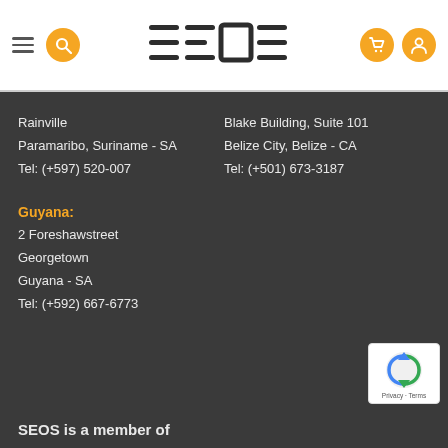SEOS - navigation header with logo, search, cart, and user icons
Rainville
Paramaribo, Suriname - SA
Tel: (+597) 520-007
Blake Building, Suite 101
Belize City, Belize - CA
Tel: (+501) 673-3187
Guyana:
2 Foreshawstreet
Georgetown
Guyana - SA
Tel: (+592) 667-6773
SEOS is a member of